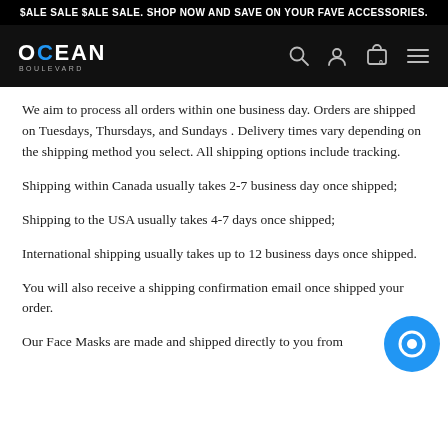$ALE SALE $ALE SALE. SHOP NOW AND SAVE ON YOUR FAVE ACCESSORIES.
[Figure (logo): Ocean Boulevard logo with navigation icons (search, user, cart with 0, hamburger menu) on black background]
We aim to process all orders within one business day. Orders are shipped on Tuesdays, Thursdays, and Sundays . Delivery times vary depending on the shipping method you select. All shipping options include tracking.
Shipping within Canada usually takes 2-7 business day once shipped;
Shipping to the USA usually takes 4-7 days once shipped;
International shipping usually takes up to 12 business days once shipped.
You will also receive a shipping confirmation email once shipped your order.
Our Face Masks are made and shipped directly to you from